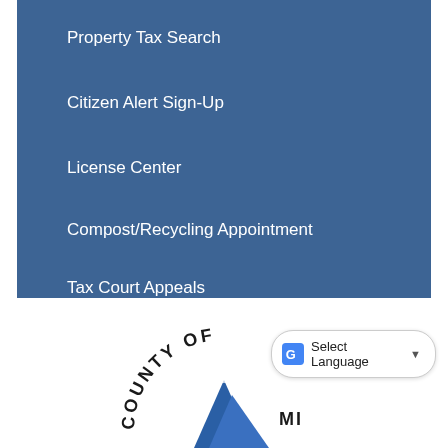Property Tax Search
Citizen Alert Sign-Up
License Center
Compost/Recycling Appointment
Tax Court Appeals
[Figure (logo): County government circular logo with mountain graphic and text 'COUNTY OF...' arching around the top]
Select Language